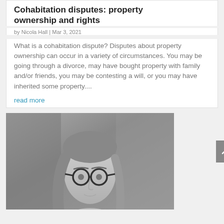Cohabitation disputes: property ownership and rights
by Nicola Hall | Mar 3, 2021
What is a cohabitation dispute? Disputes about property ownership can occur in a variety of circumstances. You may be going through a divorce, may have bought property with family and/or friends, you may be contesting a will, or you may have inherited some property....
read more
[Figure (photo): Black and white portrait photograph of a woman with glasses and shoulder-length hair]